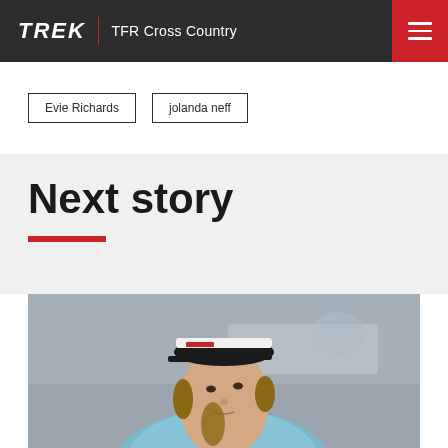TREK | TFR Cross Country
Evie Richards
jolanda neff
Next story
[Figure (photo): Close-up photo of a female cyclist wearing a Trek team cap and light blue jersey, looking upward, with a blurred background]